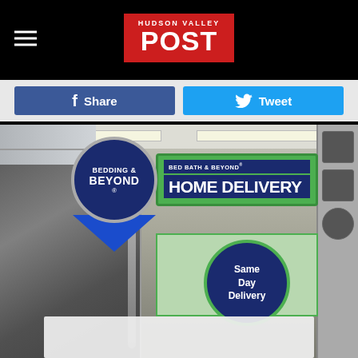Hudson Valley POST
[Figure (logo): Hudson Valley POST logo — red background with bold white text]
[Figure (other): Facebook Share button (dark blue) and Twitter Tweet button (light blue)]
[Figure (photo): Interior of a Bed Bath & Beyond store showing Bedding & Beyond circular logo sign with blue triangle below, a Bed Bath & Beyond HOME DELIVERY sign with green border, a Same Day Delivery dark blue circle, an escalator on the left, store shelving, and a white overlay box at the bottom.]